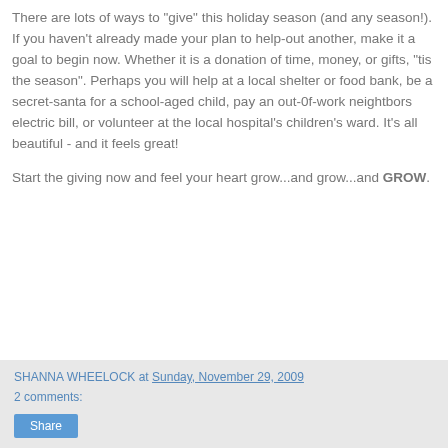There are lots of ways to "give" this holiday season (and any season!). If you haven't already made your plan to help-out another, make it a goal to begin now. Whether it is a donation of time, money, or gifts, "tis the season". Perhaps you will help at a local shelter or food bank, be a secret-santa for a school-aged child, pay an out-0f-work neightbors electric bill, or volunteer at the local hospital's children's ward. It's all beautiful - and it feels great!
Start the giving now and feel your heart grow...and grow...and GROW.
SHANNA WHEELOCK at Sunday, November 29, 2009
2 comments:
Share